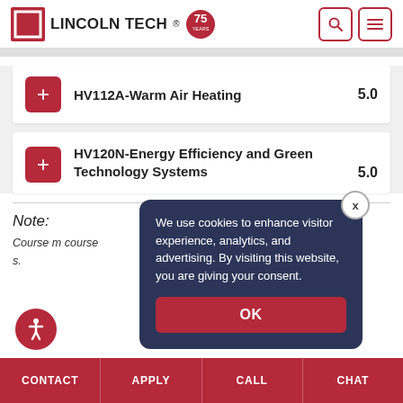[Figure (logo): Lincoln Tech logo with 75 years badge and navigation icons]
HV112A-Warm Air Heating 5.0
HV120N-Energy Efficiency and Green Technology Systems 5.0
Note:
Course m... course ...s.
We use cookies to enhance visitor experience, analytics, and advertising. By visiting this website, you are giving your consent.
OK
CONTACT   APPLY   CALL   CHAT